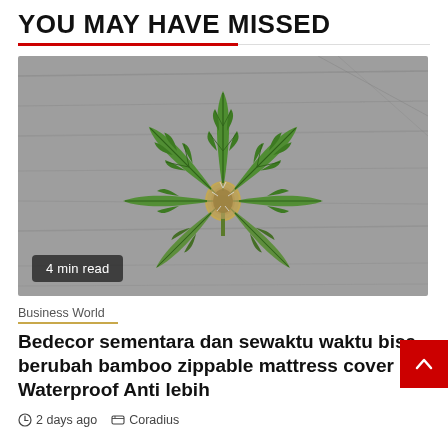YOU MAY HAVE MISSED
[Figure (photo): A cannabis plant with green serrated leaves and a flower bud, photographed from above on a grey textured wooden surface. Badge reads '4 min read'.]
Business World
Bedecor sementara dan sewaktu waktu bisa berubah bamboo zippable mattress cover Waterproof Anti lebih
2 days ago   Coradius